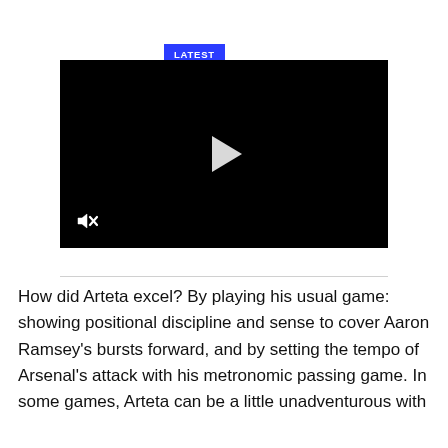LATEST VIDEO FROM SB NATION
[Figure (screenshot): Black video player with a white play button in the center and a mute icon in the bottom left corner]
How did Arteta excel? By playing his usual game: showing positional discipline and sense to cover Aaron Ramsey's bursts forward, and by setting the tempo of Arsenal's attack with his metronomic passing game. In some games, Arteta can be a little unadventurous with